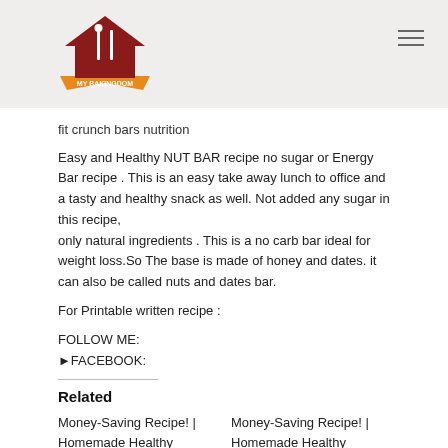MY BAKINGDOM
fit crunch bars nutrition
Easy and Healthy NUT BAR recipe no sugar or Energy Bar recipe . This is an easy take away lunch to office and a tasty and healthy snack as well. Not added any sugar in this recipe,
only natural ingredients . This is a no carb bar ideal for weight loss.So The base is made of honey and dates. it can also be called nuts and dates bar.
For Printable written recipe :
FOLLOW ME:
►FACEBOOK:
Related
Money-Saving Recipe! | Homemade Healthy Granola Bars {Crispy or
Money-Saving Recipe! | Homemade Healthy Granola Bars {Crispy or